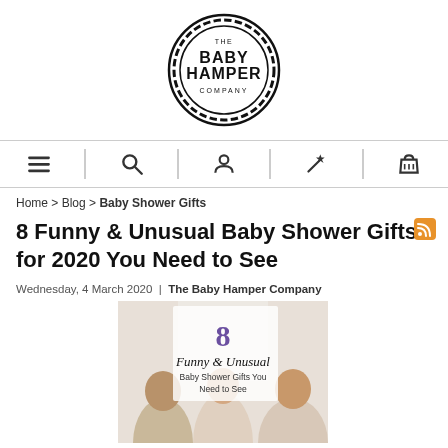[Figure (logo): The Baby Hamper Company logo — circular scalloped badge with text THE BABY HAMPER COMPANY]
[Figure (infographic): Navigation bar with hamburger menu, search, user, wand/star, and basket icons separated by dotted dividers]
Home > Blog > Baby Shower Gifts
8 Funny & Unusual Baby Shower Gifts for 2020 You Need to See
Wednesday, 4 March 2020  |  The Baby Hamper Company
[Figure (photo): Blog post hero image showing '8 Funny & Unusual Baby Shower Gifts You Need to See' overlaid on a photo of three women at a baby shower laughing together]